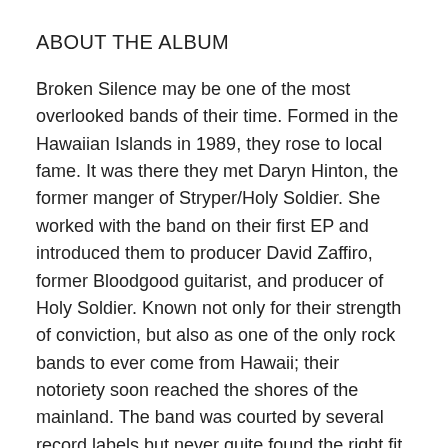ABOUT THE ALBUM
Broken Silence may be one of the most overlooked bands of their time. Formed in the Hawaiian Islands in 1989, they rose to local fame. It was there they met Daryn Hinton, the former manger of Stryper/Holy Soldier. She worked with the band on their first EP and introduced them to producer David Zaffiro, former Bloodgood guitarist, and producer of Holy Soldier. Known not only for their strength of conviction, but also as one of the only rock bands to ever come from Hawaii; their notoriety soon reached the shores of the mainland. The band was courted by several record labels but never quite found the right fit. In spite of the changing music industry, this critically acclaimed album was originally released as an EP, later re-released in Japan as a full length album, and now is made available to all. The 2011 Retroarchives Edition features all 13 tracks digitally remastered by J Powell at Steinhaus, and comes